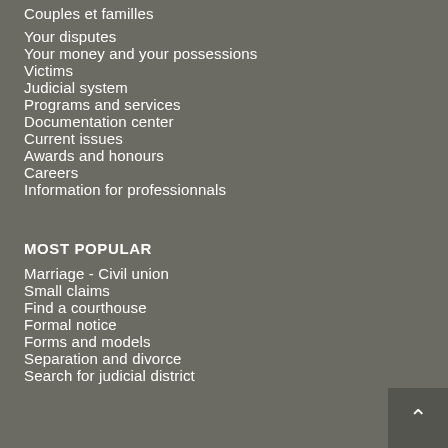Couples et familles
Your disputes
Your money and your possessions
Victims
Judicial system
Programs and services
Documentation center
Current issues
Awards and honours
Careers
Information for professionnals
MOST POPULAR
Marriage - Civil union
Small claims
Find a courthouse
Formal notice
Forms and models
Separation and divorce
Search for judicial district